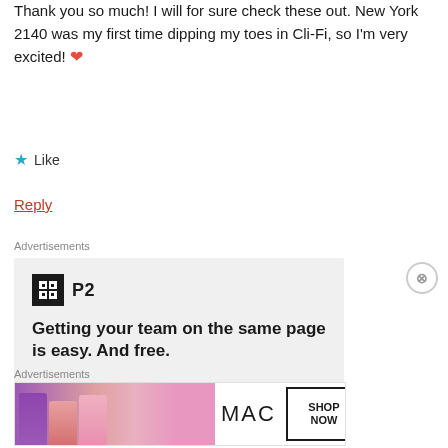Thank you so much! I will for sure check these out. New York 2140 was my first time dipping my toes in Cli-Fi, so I'm very excited! ❤
★ Like
Reply
Advertisements
[Figure (infographic): P2 advertisement: Getting your team on the same page is easy. And free. Shows team avatars at bottom.]
Advertisements
[Figure (infographic): MAC cosmetics advertisement with lipsticks and SHOP NOW button.]